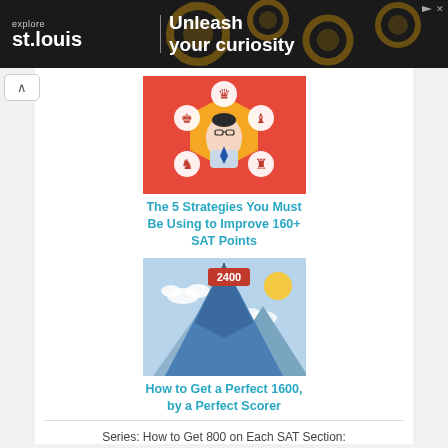[Figure (illustration): Advertisement banner for Explore St. Louis with gear background and text 'Unleash your curiosity']
[Figure (illustration): Red and orange background with chess piece icons in white circles surrounding a cartoon person with glasses and a tie]
The 5 Strategies You Must Be Using to Improve 160+ SAT Points
[Figure (illustration): Blue mountain peak with a flag reading '2400' at the top, clouds and a sun, with smaller mountains in the background]
How to Get a Perfect 1600, by a Perfect Scorer
Series: How to Get 800 on Each SAT Section: